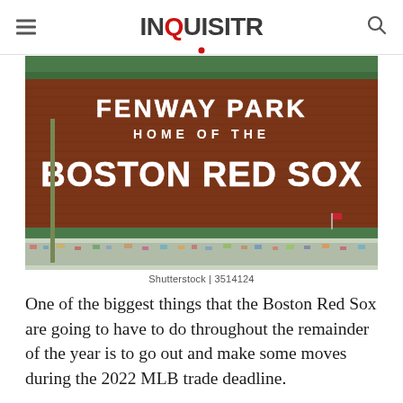INQUISITR
[Figure (photo): Fenway Park sign reading 'FENWAY PARK HOME OF THE BOSTON RED SOX' on a brick wall with green trim, crowd visible below]
Shutterstock | 3514124
One of the biggest things that the Boston Red Sox are going to have to do throughout the remainder of the year is to go out and make some moves during the 2022 MLB trade deadline.